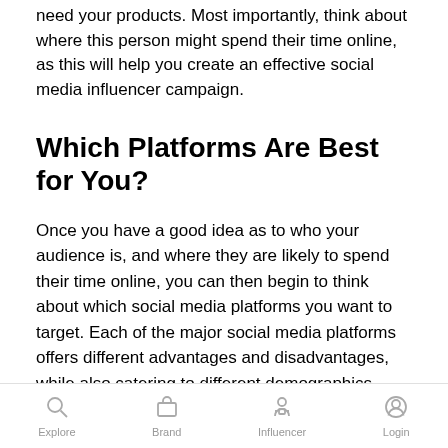need your products. Most importantly, think about where this person might spend their time online, as this will help you create an effective social media influencer campaign.
Which Platforms Are Best for You?
Once you have a good idea as to who your audience is, and where they are likely to spend their time online, you can then begin to think about which social media platforms you want to target. Each of the major social media platforms offers different advantages and disadvantages, while also catering to different demographics. You'll want to choose the top social media influencers on
Explore  Brand  Influencer  Login